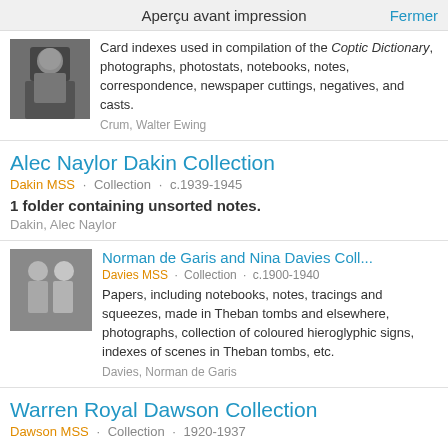Aperçu avant impression
Card indexes used in compilation of the <i>Coptic Dictionary</i>, photographs, photostats, notebooks, notes, correspondence, newspaper cuttings, negatives, and casts.
Crum, Walter Ewing
Alec Naylor Dakin Collection
Dakin MSS · Collection · c.1939-1945
1 folder containing unsorted notes.
Dakin, Alec Naylor
Norman de Garis and Nina Davies Coll...
Davies MSS · Collection · c.1900-1940
Papers, including notebooks, notes, tracings and squeezes, made in Theban tombs and elsewhere, photographs, collection of coloured hieroglyphic signs, indexes of scenes in Theban tombs, etc.
Davies, Norman de Garis
Warren Royal Dawson Collection
Dawson MSS · Collection · 1920-1937